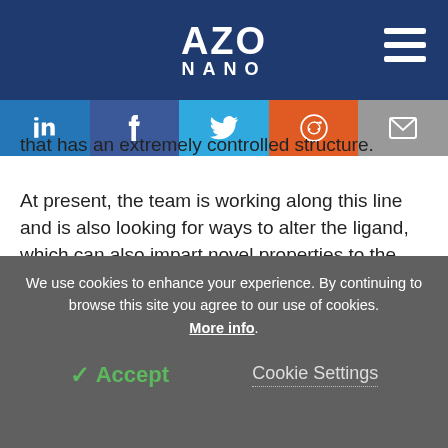AZO NANO
that has an extremely controlled structure.
At present, the team is working along this line and is also looking for ways to alter the ligand, which can also impart novel properties to the system.
Journal Reference:
We use cookies to enhance your experience. By continuing to browse this site you agree to our use of cookies. More info.
Accept   Cookie Settings